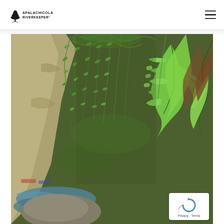Apalachicola Riverkeeper
[Figure (photo): Close-up photograph of lush green ferns and vegetation growing on a rocky cliff face, with water and rocks visible in the lower left. The plants include hanging maidenhair ferns and larger leafy ferns, set against a mossy dark rock background.]
[Figure (other): reCAPTCHA widget overlay showing the circular arrow icon and Privacy - Terms text]